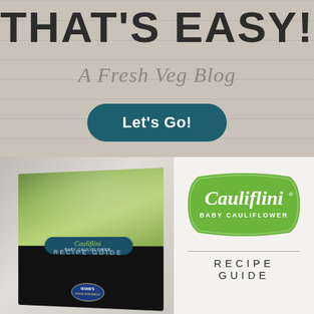THAT'S EASY!
A Fresh Veg Blog
Let's Go!
[Figure (photo): Cauliflini Baby Cauliflower Recipe Guide booklet propped open showing cauliflower vegetables and Mann's branding]
[Figure (logo): Cauliflini Baby Cauliflower green badge logo with recipe guide text below]